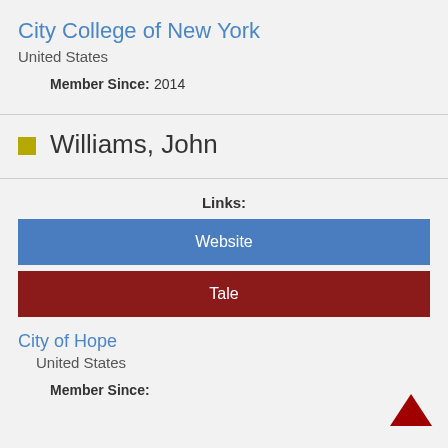City College of New York
United States
Member Since:
2014
Williams, John
Links:
Website
Tale
City of Hope
United States
Member Since: